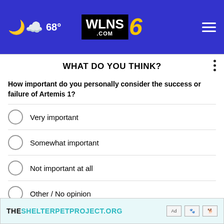[Figure (screenshot): WLNS 6 TV station website header with blue background, weather icon showing 68 degrees, WLNS.com logo with number 6, and hamburger menu]
WHAT DO YOU THINK?
How important do you personally consider the success or failure of Artemis 1?
Very important
Somewhat important
Not important at all
Other / No opinion
NEXT *
* By clicking "NEXT" you agree to the following: We use cookies to track your survey answers. If you would like to continue with this survey, please read
[Figure (screenshot): Advertisement banner for THESHELTERPETPROJECT.ORG with teal text and ad icons]